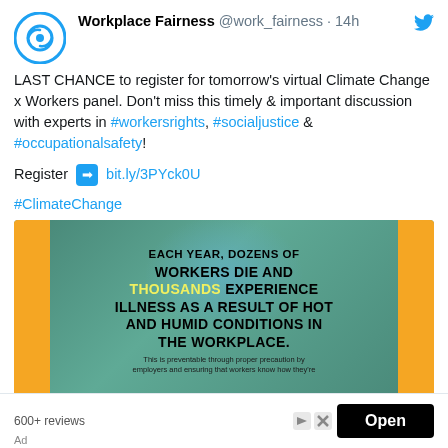Workplace Fairness @work_fairness · 14h
LAST CHANCE to register for tomorrow's virtual Climate Change x Workers panel. Don't miss this timely & important discussion with experts in #workersrights, #socialjustice & #occupationalsafety!
Register ➡ bit.ly/3PYck0U
#ClimateChange
[Figure (photo): Infographic image with orange side bars and teal/green background. Text reads: EACH YEAR, DOZENS OF WORKERS DIE AND THOUSANDS EXPERIENCE ILLNESS AS A RESULT OF HOT AND HUMID CONDITIONS IN THE WORKPLACE. This is preventable through proper precaution by employers and ensuring that workers know how they're...]
600+ reviews
Open
Ad